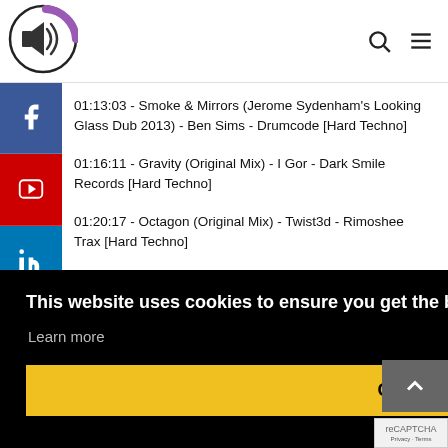[Figure (logo): Circular logo with speaker/sound icon and purple arc design]
01:13:03 - Smoke & Mirrors (Jerome Sydenham's Looking Glass Dub 2013) - Ben Sims - Drumcode [Hard Techno]
01:16:11 - Gravity (Original Mix) - I Gor - Dark Smile Records [Hard Techno]
01:20:17 - Octagon (Original Mix) - Twist3d - Rimoshee Trax [Hard Techno]
This website uses cookies to ensure you get the best experience on our website.
Learn more
Got it!
Legends Records [Hard Techno]